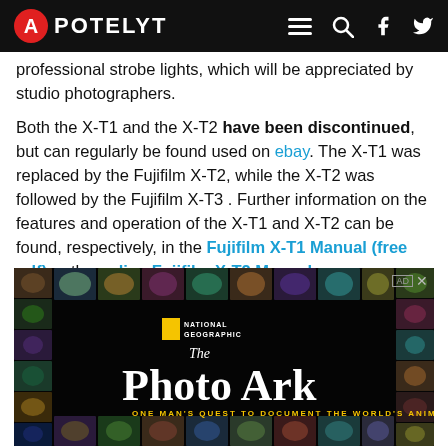APOTELYT
professional strobe lights, which will be appreciated by studio photographers.
Both the X-T1 and the X-T2 have been discontinued, but can regularly be found used on ebay. The X-T1 was replaced by the Fujifilm X-T2, while the X-T2 was followed by the Fujifilm X-T3 . Further information on the features and operation of the X-T1 and X-T2 can be found, respectively, in the Fujifilm X-T1 Manual (free pdf) or the online Fujifilm X-T2 Manual.
[Figure (photo): National Geographic The Photo Ark advertisement — black background with various animal photos around the edges, National Geographic yellow rectangle logo, text 'The Photo Ark' and 'ONE MAN'S QUEST TO DOCUMENT THE WORLD'S ANIMALS']